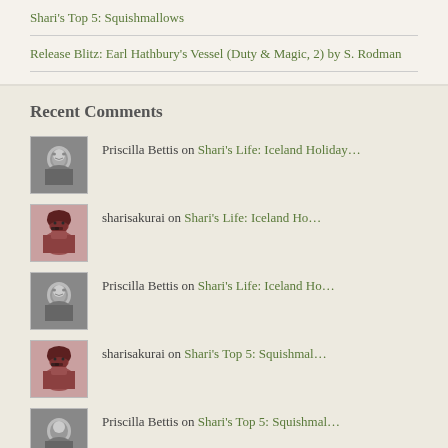Shari's Top 5: Squishmallows
Release Blitz: Earl Hathbury's Vessel (Duty & Magic, 2) by S. Rodman
Recent Comments
Priscilla Bettis on Shari's Life: Iceland Holiday…
sharisakurai on Shari's Life: Iceland Ho…
Priscilla Bettis on Shari's Life: Iceland Ho…
sharisakurai on Shari's Top 5: Squishmal…
Priscilla Bettis on Shari's Top 5: Squishmal…